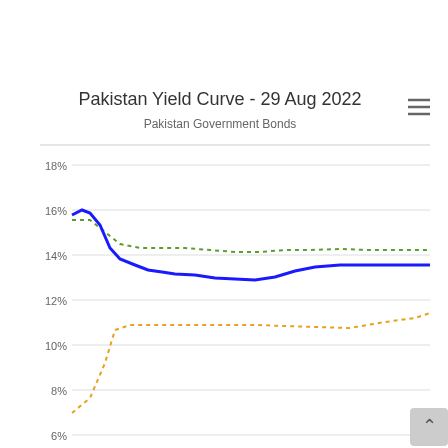[Figure (continuous-plot): Pakistan Government Bonds yield curve chart showing three lines: a solid blue line (current yield curve) starting ~16% at short maturities and declining to ~13.5% at longer maturities, a green dotted line hovering around 13.9-14% across maturities, and an orange dotted line rising from ~7.5% at short maturities to ~11.8% at long maturities.]